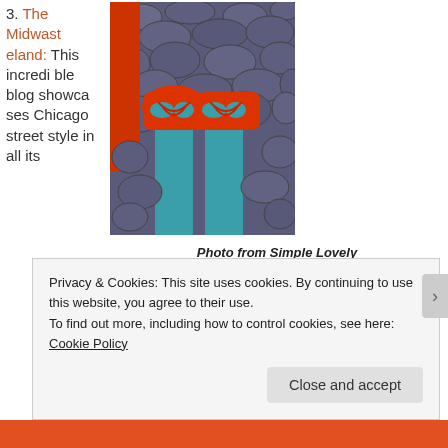3. The Midwasteland: This incredible blog showcases Chicago street style in all its
[Figure (photo): Photo of red shoes with teal/turquoise tights on cobblestone pavement, with a red bag visible on the left side]
Photo from Simple Lovely
Privacy & Cookies: This site uses cookies. By continuing to use this website, you agree to their use.
To find out more, including how to control cookies, see here: Cookie Policy
Close and accept